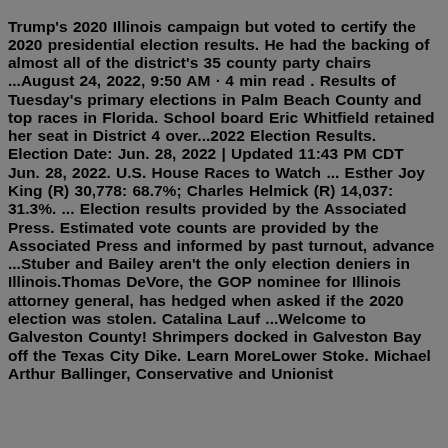Trump's 2020 Illinois campaign but voted to certify the 2020 presidential election results. He had the backing of almost all of the district's 35 county party chairs ...August 24, 2022, 9:50 AM · 4 min read . Results of Tuesday's primary elections in Palm Beach County and top races in Florida. School board Eric Whitfield retained her seat in District 4 over...2022 Election Results. Election Date: Jun. 28, 2022 | Updated 11:43 PM CDT Jun. 28, 2022. U.S. House Races to Watch ... Esther Joy King (R) 30,778: 68.7%; Charles Helmick (R) 14,037: 31.3%. ... Election results provided by the Associated Press. Estimated vote counts are provided by the Associated Press and informed by past turnout, advance ...Stuber and Bailey aren't the only election deniers in Illinois.Thomas DeVore, the GOP nominee for Illinois attorney general, has hedged when asked if the 2020 election was stolen. Catalina Lauf ...Welcome to Galveston County! Shrimpers docked in Galveston Bay off the Texas City Dike. Learn MoreLower Stoke. Michael Arthur Ballinger, Conservative and Unionist